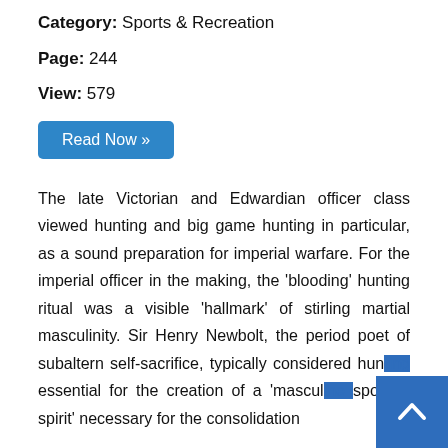Category: Sports & Recreation
Page: 244
View: 579
Read Now »
The late Victorian and Edwardian officer class viewed hunting and big game hunting in particular, as a sound preparation for imperial warfare. For the imperial officer in the making, the 'blooding' hunting ritual was a visible 'hallmark' of stirling martial masculinity. Sir Henry Newbolt, the period poet of subaltern self-sacrifice, typically considered hunting essential for the creation of a 'masculine sporting spirit' necessary for the consolidation